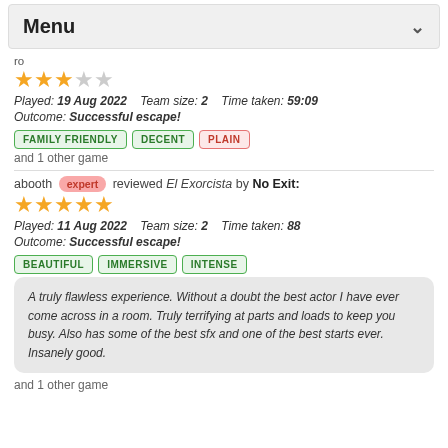Menu
ro
★★★☆☆
Played: 19 Aug 2022   Team size: 2   Time taken: 59:09
Outcome: Successful escape!
FAMILY FRIENDLY
DECENT
PLAIN
and 1 other game
abooth expert reviewed El Exorcista by No Exit:
★★★★★
Played: 11 Aug 2022   Team size: 2   Time taken: 88
Outcome: Successful escape!
BEAUTIFUL
IMMERSIVE
INTENSE
A truly flawless experience. Without a doubt the best actor I have ever come across in a room. Truly terrifying at parts and loads to keep you busy. Also has some of the best sfx and one of the best starts ever. Insanely good.
and 1 other game